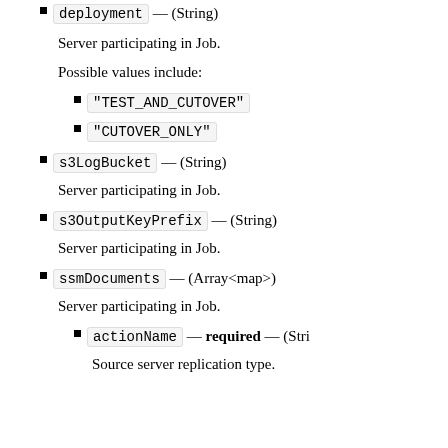deployment — (String)
Server participating in Job.
Possible values include:
"TEST_AND_CUTOVER"
"CUTOVER_ONLY"
s3LogBucket — (String)
Server participating in Job.
s3OutputKeyPrefix — (String)
Server participating in Job.
ssmDocuments — (Array<map>)
Server participating in Job.
actionName — required — (Stri…)
Source server replication type.